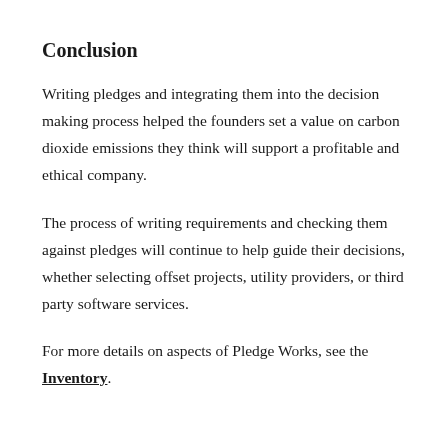Conclusion
Writing pledges and integrating them into the decision making process helped the founders set a value on carbon dioxide emissions they think will support a profitable and ethical company.
The process of writing requirements and checking them against pledges will continue to help guide their decisions, whether selecting offset projects, utility providers, or third party software services.
For more details on aspects of Pledge Works, see the Inventory.